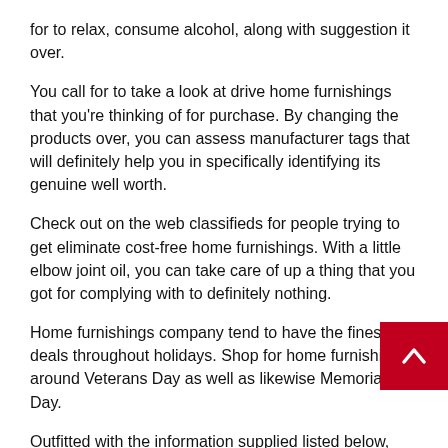for to relax, consume alcohol, along with suggestion it over.
You call for to take a look at drive home furnishings that you're thinking of for purchase. By changing the products over, you can assess manufacturer tags that will definitely help you in specifically identifying its genuine well worth.
Check out on the web classifieds for people trying to get eliminate cost-free home furnishings. With a little elbow joint oil, you can take care of up a thing that you got for complying with to definitely nothing.
Home furnishings company tend to have the finest deals throughout holidays. Shop for home furnishings around Veterans Day as well as likewise Memorial Day.
Outfitted with the information supplied listed below, can make brilliant choices in furniture. Do your research study, acknowledge the costs as well as additionally in fact look right into the premium of the home furnishings.